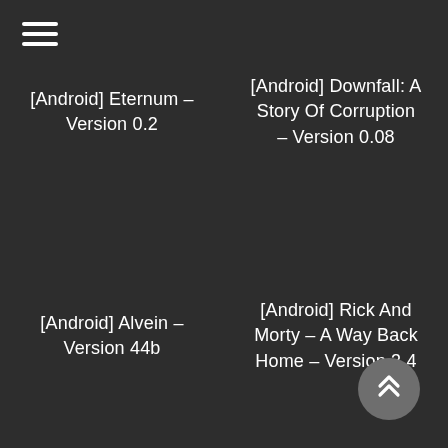[Figure (other): Hamburger menu icon (three horizontal white lines) in top-left corner]
[Android] Eternum – Version 0.2
[Android] Downfall: A Story Of Corruption – Version 0.08
[Android] Alvein – Version 44b
[Android] Rick And Morty – A Way Back Home – Version 3.4
[Figure (other): Floating action button with double up-chevron arrow icon in bottom-right corner]